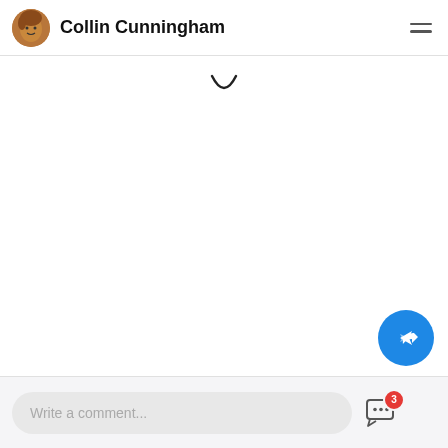Collin Cunningham
[Figure (illustration): Smiley face emoji icon partially visible at top of content area]
Write a comment...
[Figure (illustration): Chat bubble icon with notification badge showing 3]
[Figure (illustration): Blue circular share/reply button with arrow icon]